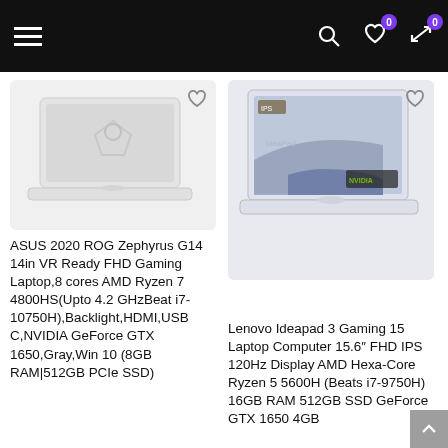Navigation bar with hamburger menu, search, wishlist (0), and compare (0) icons
[Figure (screenshot): ASUS ROG Zephyrus G14 laptop product image on light gray background]
ASUS 2020 ROG Zephyrus G14 14in VR Ready FHD Gaming Laptop,8 cores AMD Ryzen 7 4800HS(Upto 4.2 GHzBeat i7-10750H),Backlight,HDMI,USB C,NVIDIA GeForce GTX 1650,Gray,Win 10 (8GB RAM|512GB PCIe SSD)
[Figure (screenshot): Lenovo Ideapad 3 Gaming laptop product image on light gray background]
Lenovo Ideapad 3 Gaming 15 Laptop Computer 15.6″ FHD IPS 120Hz Display AMD Hexa-Core Ryzen 5 5600H (Beats i7-9750H) 16GB RAM 512GB SSD GeForce GTX 1650 4GB